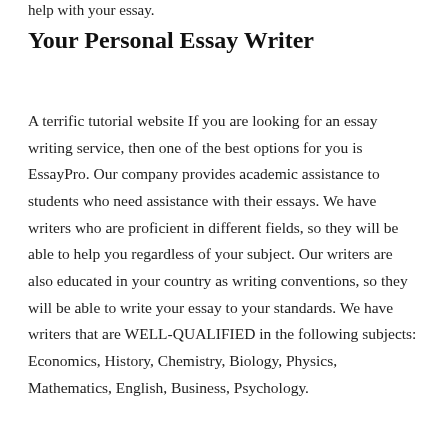help with your essay.
Your Personal Essay Writer
A terrific tutorial website If you are looking for an essay writing service, then one of the best options for you is EssayPro. Our company provides academic assistance to students who need assistance with their essays. We have writers who are proficient in different fields, so they will be able to help you regardless of your subject. Our writers are also educated in your country as writing conventions, so they will be able to write your essay to your standards. We have writers that are WELL-QUALIFIED in the following subjects: Economics, History, Chemistry, Biology, Physics, Mathematics, English, Business, Psychology.